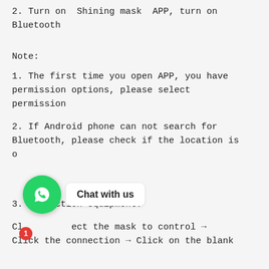2. Turn on  Shining mask  APP, turn on Bluetooth
Note:
1. The first time you open APP, you have permission options, please select permission
2. If Android phone can not search for Bluetooth, please check if the location is o[pen]
3. Connection equipment:
Cl[ick s]elect the mask to control → Click the connection → Click on the blank